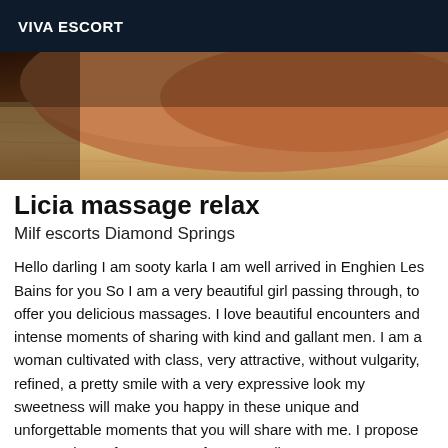VIVA ESCORT
[Figure (photo): Close-up photo of a person's back/shoulder skin against a wooden surface background]
Licia massage relax
Milf escorts Diamond Springs
Hello darling I am sooty karla I am well arrived in Enghien Les Bains for you So I am a very beautiful girl passing through, to offer you delicious massages. I love beautiful encounters and intense moments of sharing with kind and gallant men. I am a woman cultivated with class, very attractive, without vulgarity, refined, a pretty smile with a very expressive look my sweetness will make you happy in these unique and unforgettable moments that you will share with me. I propose you sessions of massages of great quality. MY PROPOSALS *Shower together for 1h appointments; *Blowjob, *Anal